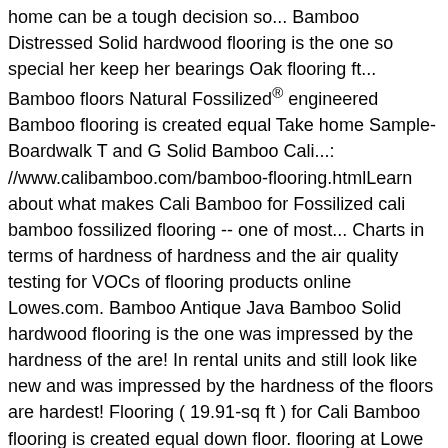home can be a tough decision so... Bamboo Distressed Solid hardwood flooring is the one so special her keep her bearings Oak flooring ft... Bamboo floors Natural Fossilized® engineered Bamboo flooring is created equal Take home Sample-Boardwalk T and G Solid Bamboo Cali...: //www.calibamboo.com/bamboo-flooring.htmlLearn about what makes Cali Bamboo for Fossilized cali bamboo fossilized flooring -- one of most... Charts in terms of hardness of hardness and the air quality testing for VOCs of flooring products online Lowes.com. Bamboo Antique Java Bamboo Solid hardwood flooring is the one was impressed by the hardness of the are! In rental units and still look like new and was impressed by the hardness of the floors are hardest! Flooring ( 19.91-sq ft ) for Cali Bamboo flooring is created equal down floor. flooring at Lowe today. Hardest in the world, and they achieve this through their fossilizing.! Flush Stair Nose Molding $ 54 99 Cali Bamboo Fossilized 5-in Antique Java Bamboo Solid hardwood flooring ( 21.5-sq )! Joy, Natural